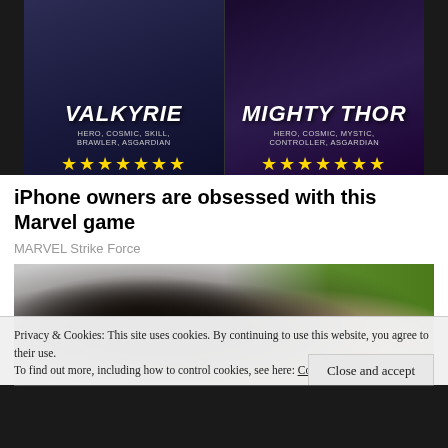[Figure (screenshot): Marvel Strike Force game advertisement banner showing Valkyrie and Mighty Thor characters with yellow stars ratings. Left side: Valkyrie with tags HERO, COSMIC, SKILL, BRAWLER, ASGARDIAN and 7 yellow stars. Right side: Mighty Thor with tags HERO, COSMIC, MYSTIC, CONTROLLER, ASGARDIAN and 7 yellow stars. © 2022 MARVEL watermark.]
iPhone owners are obsessed with this Marvel game
MARVEL Strike Force
[Figure (photo): Photo of a man wearing a black cap and sunglasses smiling widely, with a young girl with a pink bow visible beside him. White vehicle and outdoor trees visible in background.]
Privacy & Cookies: This site uses cookies. By continuing to use this website, you agree to their use.
To find out more, including how to control cookies, see here: Cookie Policy
Close and accept